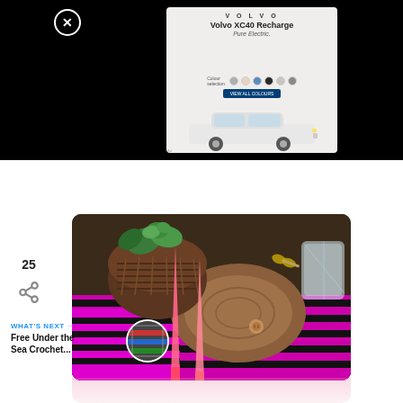[Figure (screenshot): Black background with a Volvo XC40 Recharge advertisement card. Ad shows VOLVO logo, model name 'Volvo XC40 Recharge', subtitle 'Pure Electric.', color swatches, a CTA button, and a white SUV image. Close button (X in circle) top-left.]
[Figure (photo): Crochet craft photo showing a purple/black/magenta striped crochet blanket with pink crochet hooks, a wicker basket with a plant, wooden board with scissors and a glass container in the background.]
25
WHAT'S NEXT →
Free Under the Sea Crochet...